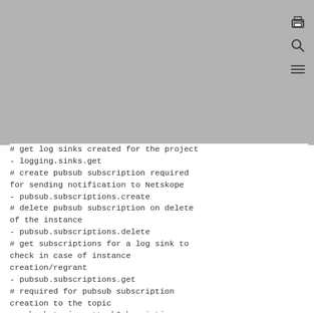[Figure (screenshot): Gray header bar with print, search, and menu icons in top right corner]
# get log sinks created for the project
- logging.sinks.get
# create pubsub subscription required for sending notification to Netskope
- pubsub.subscriptions.create
# delete pubsub subscription on delete of the instance
- pubsub.subscriptions.delete
# get subscriptions for a log sink to check in case of instance creation/regrant
- pubsub.subscriptions.get
# required for pubsub subscription creation to the topic
- pubsub.topics.attachSubscription
# get bucket metadata
- storage.buckets.get
# list storage buckets under the project
- storage.buckets.list